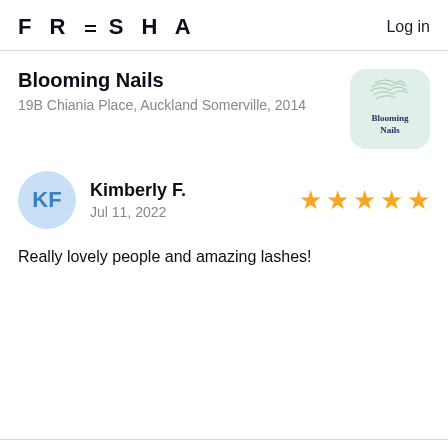FRESHA   Log in
Blooming Nails
19B Chiania Place, Auckland Somerville, 2014
[Figure (logo): Blooming Nails business logo: light green rounded square with stylized script on top and 'Blooming Nails' text in dark blue]
KF
Kimberly F.
Jul 11, 2022
[Figure (other): 5 gold stars rating]
Really lovely people and amazing lashes!